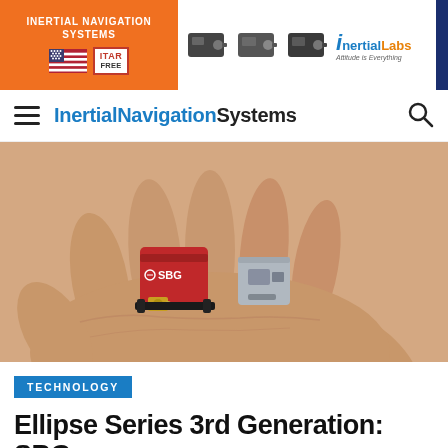[Figure (photo): Orange banner header for InertialNavigationSystems website showing 'INERTIAL NAVIGATION SYSTEMS' text, USA and ITAR FREE badges, three small dark sensor devices, and Inertial Labs logo on white/orange background]
InertialNavigationSystems
[Figure (photo): Close-up photo of an open human hand holding two small inertial measurement unit devices: a red anodized aluminum SBG unit with gold connectors and a smaller silver/grey unit]
TECHNOLOGY
Ellipse Series 3rd Generation: SBG